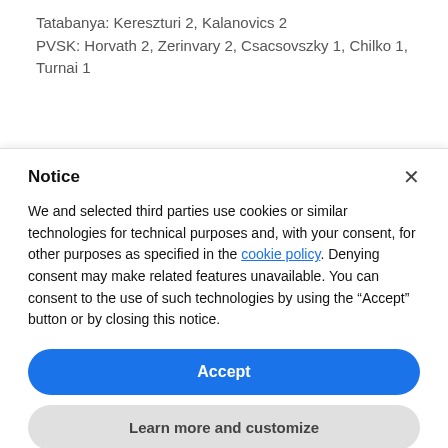Tatabanya: Kereszturi 2, Kalanovics 2
PVSK: Horvath 2, Zerinvary 2, Csacsovszky 1, Chilko 1, Turnai 1
Notice
We and selected third parties use cookies or similar technologies for technical purposes and, with your consent, for other purposes as specified in the cookie policy. Denying consent may make related features unavailable. You can consent to the use of such technologies by using the “Accept” button or by closing this notice.
Accept
Learn more and customize